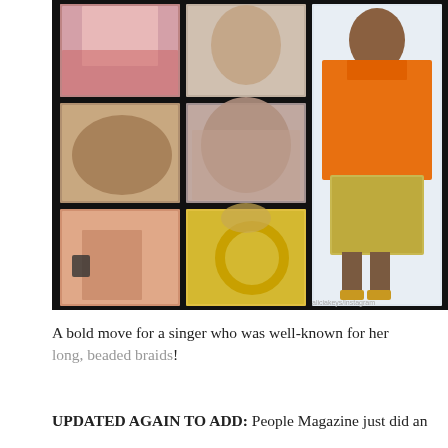[Figure (photo): A collage of photos on a black background: six smaller photos on the left two columns showing a woman (Alicia Keys) in various shots — selfies with sunglasses and red lips, curly hair, short bob haircut, gold hoop earrings, and a pink jacket — alongside a full-length photo on the right of a woman in an orange blouse and patterned shorts with gold heels. Watermark 'aliciakeys/instagram' in bottom right.]
A bold move for a singer who was well-known for her long, beaded braids!
UPDATED AGAIN TO ADD: People Magazine just did an